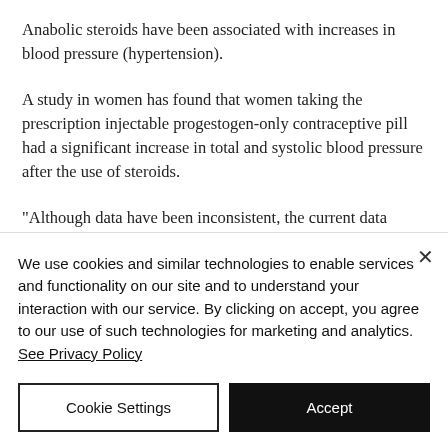Anabolic steroids have been associated with increases in blood pressure (hypertension).
A study in women has found that women taking the prescription injectable progestogen-only contraceptive pill had a significant increase in total and systolic blood pressure after the use of steroids.
"Although data have been inconsistent, the current data strongly suggest an association between increased systolic blood pressure...
We use cookies and similar technologies to enable services and functionality on our site and to understand your interaction with our service. By clicking on accept, you agree to our use of such technologies for marketing and analytics. See Privacy Policy